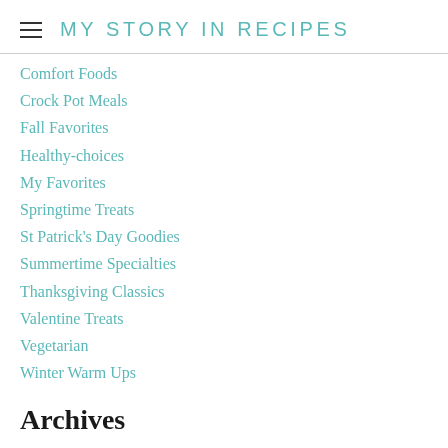MY STORY IN RECIPES
Comfort Foods
Crock Pot Meals
Fall Favorites
Healthy-choices
My Favorites
Springtime Treats
St Patrick's Day Goodies
Summertime Specialties
Thanksgiving Classics
Valentine Treats
Vegetarian
Winter Warm Ups
Archives
August 2022
July 2022
June 2022